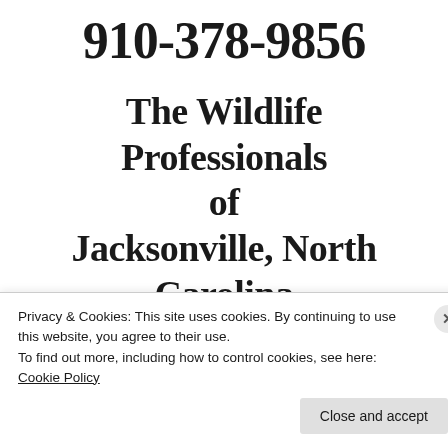910-378-9856
The Wildlife Professionals of Jacksonville, North Carolina
910-378-9856
Privacy & Cookies: This site uses cookies. By continuing to use this website, you agree to their use.
To find out more, including how to control cookies, see here: Cookie Policy
Close and accept